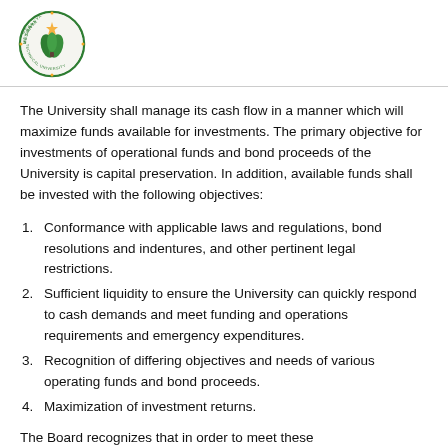[Figure (logo): Mesanya Technical University circular seal/logo with green and gold colors]
The University shall manage its cash flow in a manner which will maximize funds available for investments. The primary objective for investments of operational funds and bond proceeds of the University is capital preservation. In addition, available funds shall be invested with the following objectives:
Conformance with applicable laws and regulations, bond resolutions and indentures, and other pertinent legal restrictions.
Sufficient liquidity to ensure the University can quickly respond to cash demands and meet funding and operations requirements and emergency expenditures.
Recognition of differing objectives and needs of various operating funds and bond proceeds.
Maximization of investment returns.
The Board recognizes that in order to meet these